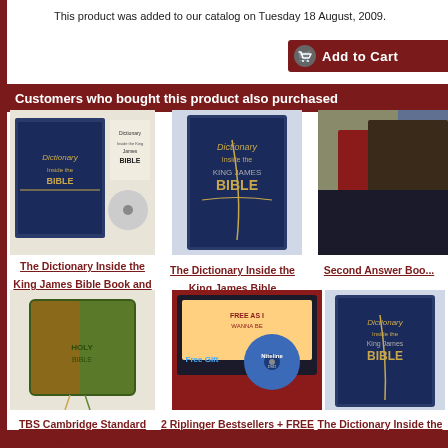This product was added to our catalog on Tuesday 18 August, 2009.
[Figure (screenshot): Add to Cart button with cart icon on dark red background]
Customers who bought this product also purchased
[Figure (photo): The Dictionary Inside the King James Bible Book and CD-ROM product image]
The Dictionary Inside the King James Bible Book and CD-ROM
[Figure (photo): The Dictionary Inside the King James Bible book cover]
The Dictionary Inside the King James Bible
[Figure (photo): Second Answer Book product image (partially visible)]
Second Answer Boo...
[Figure (photo): TBS Cambridge Standard Print Two Tone KJV Bible image]
TBS Cambridge Standard Print, Two Tone KJV Bible
[Figure (photo): 2 Riplinger Bestsellers + FREE Niteline DVD product image]
2 Riplinger Bestsellers + FREE Niteline DVD
[Figure (photo): The Dictionary Inside the King James Bible book cover (second instance)]
The Dictionary Inside the King James Bible